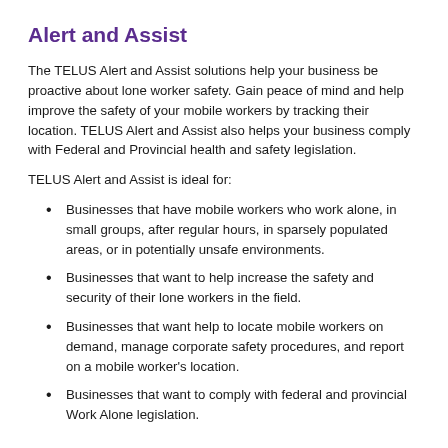Alert and Assist
The TELUS Alert and Assist solutions help your business be proactive about lone worker safety. Gain peace of mind and help improve the safety of your mobile workers by tracking their location. TELUS Alert and Assist also helps your business comply with Federal and Provincial health and safety legislation.
TELUS Alert and Assist is ideal for:
Businesses that have mobile workers who work alone, in small groups, after regular hours, in sparsely populated areas, or in potentially unsafe environments.
Businesses that want to help increase the safety and security of their lone workers in the field.
Businesses that want help to locate mobile workers on demand, manage corporate safety procedures, and report on a mobile worker's location.
Businesses that want to comply with federal and provincial Work Alone legislation.